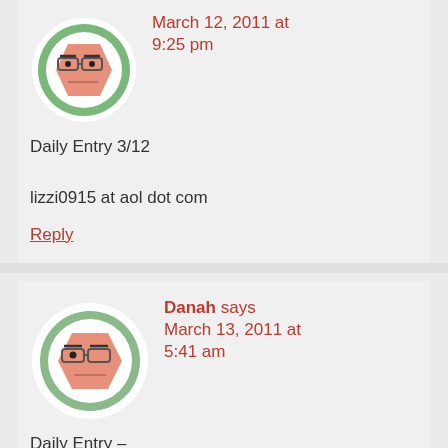[Figure (illustration): Avatar icon: cartoon face with glasses on green circular background]
March 12, 2011 at 9:25 pm
Daily Entry 3/12

lizzi0915 at aol dot com
Reply
[Figure (illustration): Avatar icon: cartoon face with glasses on green circular background]
Danah says
March 13, 2011 at 5:41 am
Daily Entry – March 12th